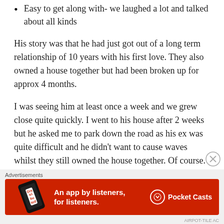Easy to get along with- we laughed a lot and talked about all kinds
His story was that he had just got out of a long term relationship of 10 years with his first love. They also owned a house together but had been broken up for approx 4 months.
I was seeing him at least once a week and we grew close quite quickly. I went to his house after 2 weeks but he asked me to park down the road as his ex was quite difficult and he didn't want to cause waves whilst they still owned the house together. Of course. I was casual, positive, easy-going.
After about 4 weeks, he cancelled on our weekend plans as 'the
[Figure (other): Advertisement banner for Pocket Casts app - red background with phone graphic. Text reads: An app by listeners, for listeners. Pocket Casts logo on right.]
AIRPOT-TILE AC